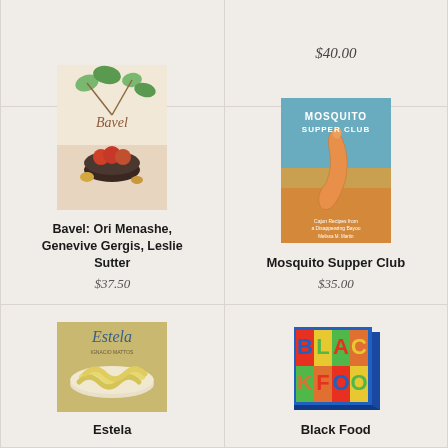$40.00
[Figure (illustration): Book cover of Bavel with illustrated plants and bowls of fruit]
Bavel: Ori Menashe, Genevive Gergis, Leslie Sutter
$37.50
[Figure (illustration): Book cover of Mosquito Supper Club with a shrimp against a sunset bayou background]
Mosquito Supper Club
$35.00
[Figure (illustration): Book cover of Estela with yellow pasta on a plate]
Estela
[Figure (illustration): Book cover of Black Food with colorful bold graphic lettering]
Black Food